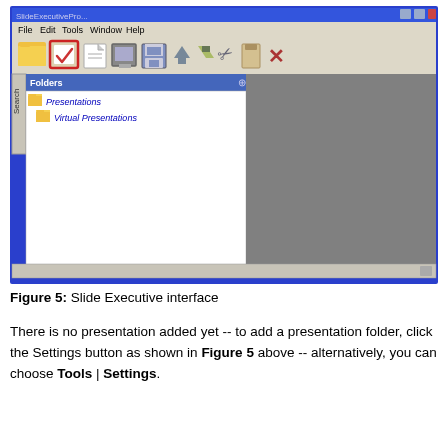[Figure (screenshot): Screenshot of Slide Executive application interface showing menu bar (File, Edit, Tools, Window, Help), toolbar with icons including a highlighted/selected checkbox icon with red border, a Folders panel on the left showing 'Presentations' and 'Virtual Presentations' folder items, and a gray content area on the right.]
Figure 5: Slide Executive interface
There is no presentation added yet -- to add a presentation folder, click the Settings button as shown in Figure 5 above -- alternatively, you can choose Tools | Settings.